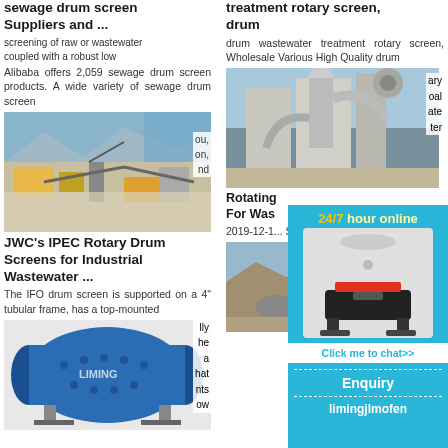sewage drum screen Suppliers and ...
screening of raw or wastewater coupled with a robust low
Alibaba offers 2,059 sewage drum screen products. A wide variety of sewage drum screen
[Figure (photo): Industrial quarry/mining site with heavy machinery and conveyors]
ou, on, and
JWC's IPEC Rotary Drum Screens for Industrial Wastewater ...
The IFO drum screen is supported on a 4" tubular frame, has a top-mounted
[Figure (photo): Blue cylindrical drum screen machine with LIMING branding]
lly he a hat nts ow
treatment rotary screen, drum
drum wastewater treatment rotary screen, Wholesale Various High Quality drum
[Figure (photo): Industrial wastewater treatment facility with large pipes and silos]
ary oal ate ter
Rotating For Was
2019-12-1... Screens Solutions. pass throu
[Figure (photo): Mining/quarry site with rocky terrain]
[Figure (advertisement): 24/7 hour online chat ad with cone crusher machine image, Click me to chat>>, Enquiry, limingjlmofen]